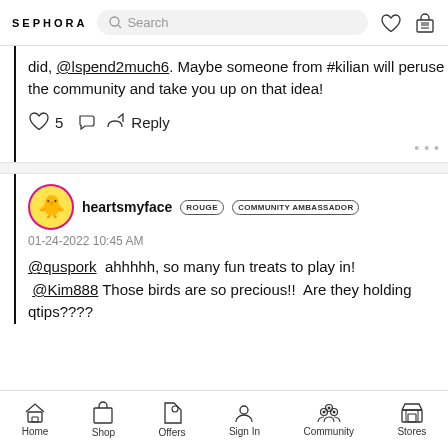SEPHORA  Search
did, @lspend2much6. Maybe someone from #kilian will peruse the community and take you up on that idea!
♡ 5  Reply
heartsmyface  ROUGE  COMMUNITY AMBASSADOR
01-24-2022 10:45 AM
@quspork  ahhhhh, so many fun treats to play in!  @Kim888 Those birds are so precious!!  Are they holding qtips????
Home  Shop  Offers  Sign In  Community  Stores